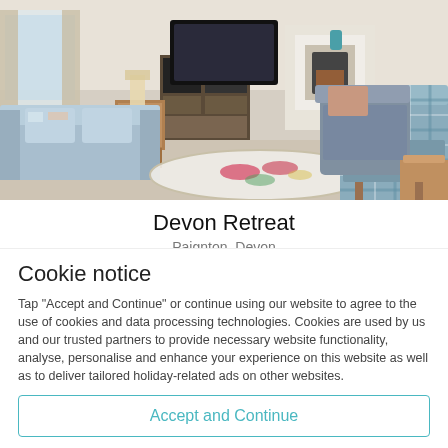[Figure (photo): Interior photo of a living room with light blue sofas, patterned armchair, floral rug, fireplace, TV unit, and wooden furniture]
Devon Retreat
Paignton, Devon
Cookie notice
Tap "Accept and Continue" or continue using our website to agree to the use of cookies and data processing technologies. Cookies are used by us and our trusted partners to provide necessary website functionality, analyse, personalise and enhance your experience on this website as well as to deliver tailored holiday-related ads on other websites.
Accept and Continue